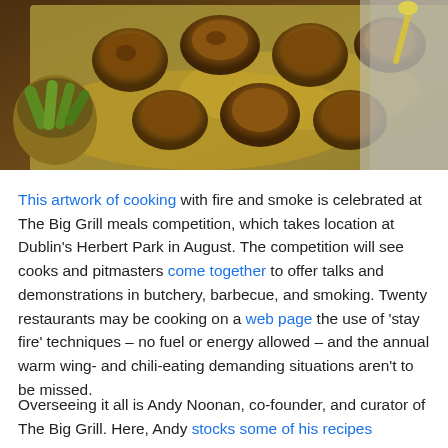[Figure (photo): Overhead photo of roasted/grilled chicken pieces on a baking tray with golden juices, a bowl of pickles on the left, and a cloth napkin with a spoon on the upper right]
This artwork of cooking with fire and smoke is celebrated at The Big Grill meals competition, which takes location at Dublin's Herbert Park in August. The competition will see cooks and pitmasters come together to offer talks and demonstrations in butchery, barbecue, and smoking. Twenty restaurants may be cooking on a web page the use of 'stay fire' techniques – no fuel or energy allowed – and the annual warm wing- and chili-eating demanding situations aren't to be missed.
Overseeing it all is Andy Noonan, co-founder, and curator of The Big Grill. Here, Andy stocks some of his recipes